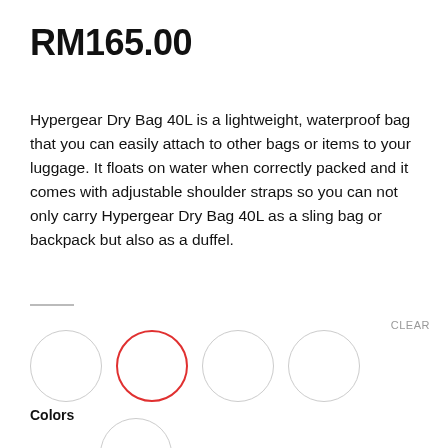RM165.00
Hypergear Dry Bag 40L is a lightweight, waterproof bag that you can easily attach to other bags or items to your luggage. It floats on water when correctly packed and it comes with adjustable shoulder straps so you can not only carry Hypergear Dry Bag 40L as a sling bag or backpack but also as a duffel.
CLEAR
[Figure (other): Color selector with 5 circular swatches arranged in a row (4 visible) and one below. The second circle is selected with a red border. Below the row is a Colors label and a fifth circle partially visible.]
Colors